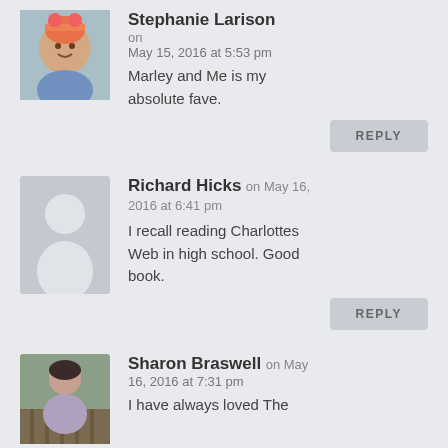Stephanie Larison on May 15, 2016 at 5:53 pm
Marley and Me is my absolute fave.
Richard Hicks on May 16, 2016 at 6:41 pm
I recall reading Charlottes Web in high school. Good book.
Sharon Braswell on May 16, 2016 at 7:31 pm
I have always loved The...